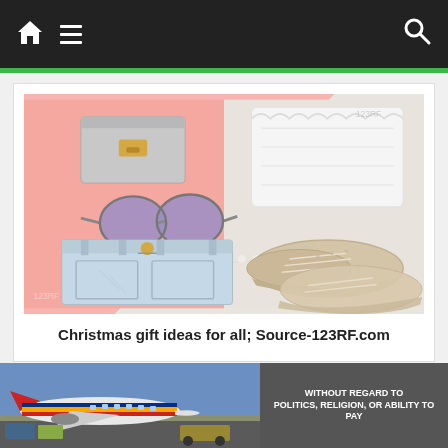Navigation bar with home, menu, and search icons
[Figure (photo): Fashion flatlay photo on pink and grey background showing denim shorts, sunglasses, white knit top, grey wallet/clutch, pearl necklace, and beige lace-up shoes]
Christmas gift ideas for all; Source-123RF.com
Everyone wants a new outfit. Buy the outfit for your
[Figure (photo): Advertisement banner showing airplane on tarmac with text WITHOUT REGARD TO POLITICS, RELIGION, OR ABILITY TO PAY]